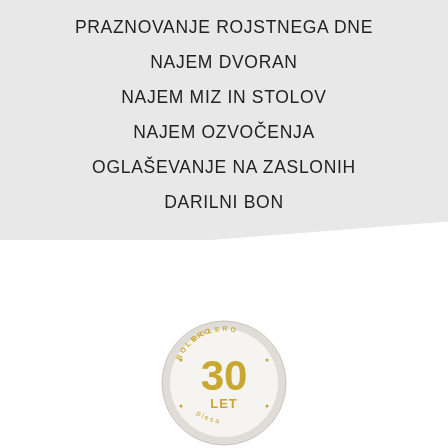PRAZNOVANJE ROJSTNEGA DNE
NAJEM DVORAN
NAJEM MIZ IN STOLOV
NAJEM OZVOČENJA
OGLAŠEVANJE NA ZASLONIH
DARILNI BON
[Figure (logo): Bolero 30 let anniversary badge/medal logo in gold and grey tones]